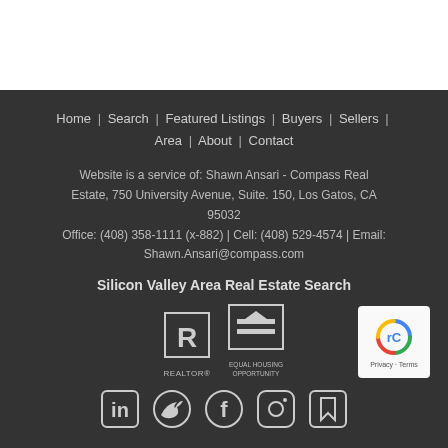Home | Search | Featured Listings | Buyers | Sellers | Area | About | Contact
Website is a service of: Shawn Ansari - Compass Real Estate, 750 University Avenue, Suite. 150, Los Gatos, CA 95032
Office: (408) 358-1111 (x-882) | Cell: (408) 529-4574 | Email: Shawn.Ansari@compass.com
Silicon Valley Area Real Estate Search
[Figure (logo): REALTOR logo]
[Figure (logo): Equal Housing Opportunity logo]
[Figure (logo): reCAPTCHA badge with Privacy and Terms]
[Figure (illustration): Social media icons: LinkedIn, Twitter, Facebook, Instagram, Bookmark]